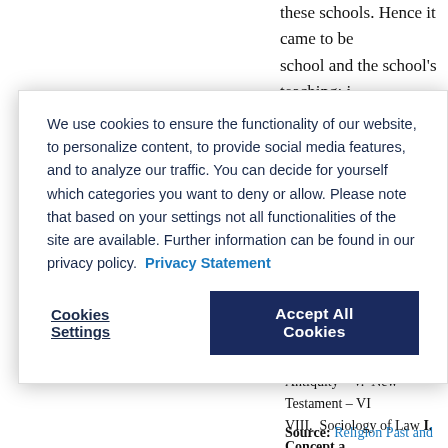these schools. Hence it came to be the school and the school's teaching; i...
b...
We use cookies to ensure the functionality of our website, to personalize content, to provide social media features, and to analyze our traffic. You can decide for yourself which categories you want to deny or allow. Please note that based on your settings not all functionalities of the site are available. Further information can be found in our privacy policy. Privacy Statement
Cookies Settings
Accept All Cookies
Religion – III. Ancient Near East a... Antiquity – V. New Testament – VI... VIII. Sociology of Law I. Concept a... generally accepted definition of la... law is basically to be understood as... of human relations. The observanc... compliance or sanctioning of trans...
Source: Religion Past and Present